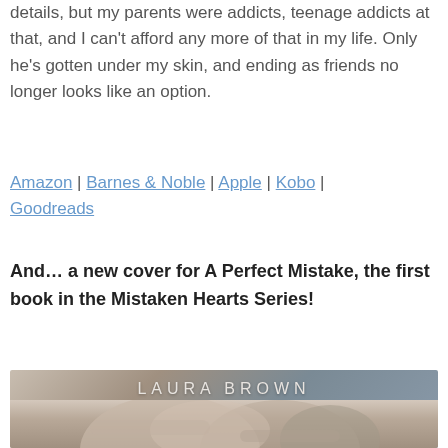details, but my parents were addicts, teenage addicts at that, and I can't afford any more of that in my life. Only he's gotten under my skin, and ending as friends no longer looks like an option.
Amazon | Barnes & Noble | Apple | Kobo | Goodreads
And… a new cover for A Perfect Mistake, the first book in the Mistaken Hearts Series!
[Figure (photo): Book cover for A Perfect Mistake by Laura Brown, showing intertwined bodies in soft muted tones with the author name LAURA BROWN displayed at the top in white spaced lettering.]